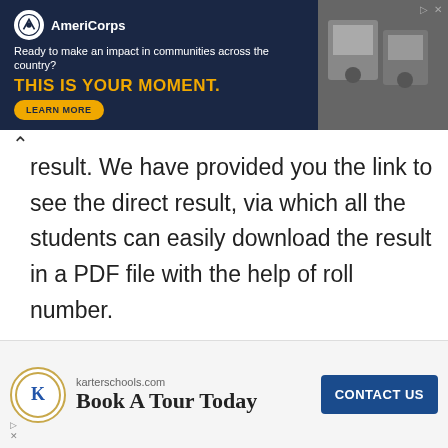[Figure (other): AmeriCorps advertisement banner: dark navy background with AmeriCorps logo, tagline 'Ready to make an impact in communities across the country?', headline 'THIS IS YOUR MOMENT.' in yellow, LEARN MORE button, and photo of people on right side.]
result. We have provided you the link to see the direct result, via which all the students can easily download the result in a PDF file with the help of roll number.
| Name of Education Board | West Bengal Board of Secondary Education (WBBSE) |
| --- | --- |
[Figure (other): Karter Schools advertisement: logo with K, domain karterschools.com, headline 'Book A Tour Today', blue CONTACT US button.]